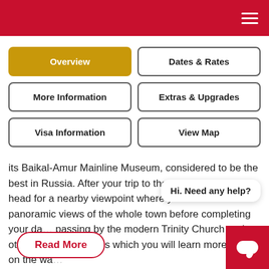Navigation header with hamburger menu
Overview (active)
Dates & Rates
More Information
Extras & Upgrades
Visa Information
View Map
its Baikal-Amur Mainline Museum, considered to be the best in Russia. After your trip to the museum, you will head for a nearby viewpoint where you can see panoramic views of the whole town before completing your da… passing by the modern Trinity Church and other historic buildings which you will learn more about on the wa…
Hi. Need any help?
Read More